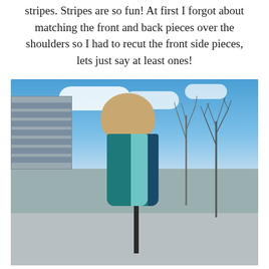stripes.  Stripes are so fun!  At first I forgot about matching the front and back pieces over the shoulders so I had to recut the front side pieces, lets just say at least ones!
[Figure (photo): A young girl with braided blonde hair, viewed from behind/side, wearing a teal and blue striped sleeveless dress. She stands outdoors near a large pole, with a modern building on the left, bare trees, and a blue sky with white clouds in the background. The setting appears to be an urban plaza or courtyard.]